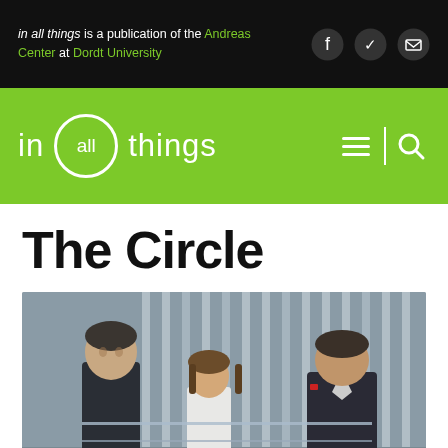in all things is a publication of the Andreas Center at Dordt University
[Figure (logo): in all things logo with circle around 'all', white text on green background]
The Circle
[Figure (photo): Scene from The Circle film showing three people in conversation in a modern glass building interior]